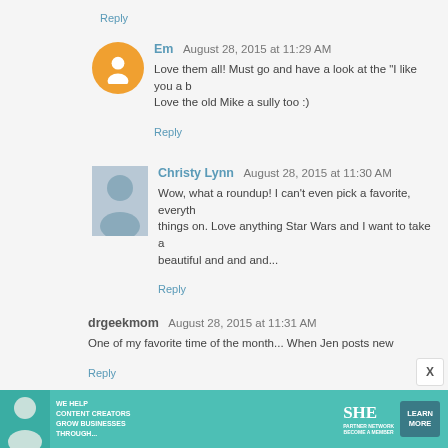Reply
Em  August 28, 2015 at 11:29 AM
Love them all! Must go and have a look at the "I like you a b... Love the old Mike a sully too :)
Reply
Christy Lynn  August 28, 2015 at 11:30 AM
Wow, what a roundup! I can't even pick a favorite, everyth... things on. Love anything Star Wars and I want to take a... beautiful and and and...
Reply
drgeekmom  August 28, 2015 at 11:31 AM
One of my favorite time of the month... When Jen posts new...
Reply
[Figure (infographic): Advertisement banner for SHE Partner Network: We Help Content Creators Grow Businesses Through... Learn More button.]